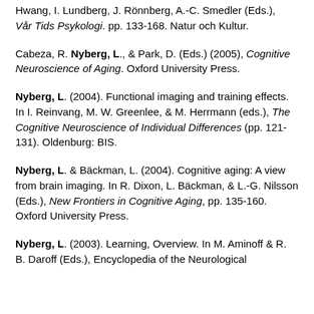Hwang, I. Lundberg, J. Rönnberg, A.-C. Smedler (Eds.), Vår Tids Psykologi. pp. 133-168. Natur och Kultur.
Cabeza, R. Nyberg, L., & Park, D. (Eds.) (2005), Cognitive Neuroscience of Aging. Oxford University Press.
Nyberg, L. (2004). Functional imaging and training effects. In I. Reinvang, M. W. Greenlee, & M. Herrmann (eds.), The Cognitive Neuroscience of Individual Differences (pp. 121-131). Oldenburg: BIS.
Nyberg, L. & Bäckman, L. (2004). Cognitive aging: A view from brain imaging. In R. Dixon, L. Bäckman, & L.-G. Nilsson (Eds.), New Frontiers in Cognitive Aging, pp. 135-160. Oxford University Press.
Nyberg, L. (2003). Learning, Overview. In M. Aminoff & R. B. Daroff (Eds.), Encyclopedia of the Neurological